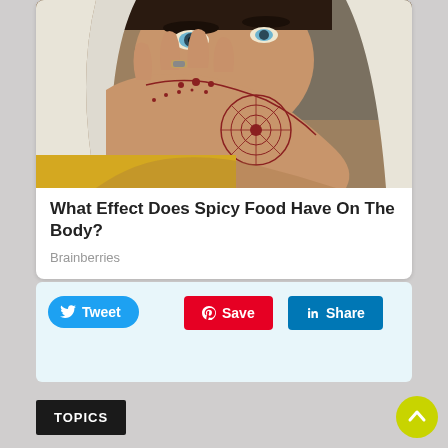[Figure (photo): Close-up photo of a woman wearing a white hijab, with detailed henna/mehndi designs on her hand covering her lower face. She is wearing a silver ring.]
What Effect Does Spicy Food Have On The Body?
Brainberries
Tweet  Save  Share
TOPICS